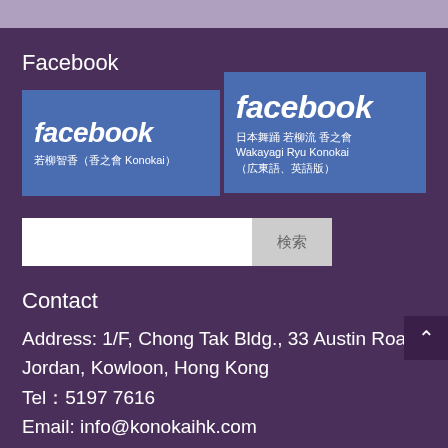Facebook
[Figure (screenshot): Two Facebook page buttons side by side. Left button shows 'facebook' logo with text '若柳智香（香之會 Konokai）'. Right button shows 'facebook' logo with text '日本舞踊 若柳流 香之會 Wakayagi Ryu Konokai（広東語、英語版）'.]
[Figure (screenshot): Search bar with white input field and grey search button with Japanese characters 検索]
Contact
Address: 1/F, Chong Tak Bldg., 33 Austin Road, Jordan, Kowloon, Hong Kong
Tel：5197 7616
Email: info@konokaihk.com